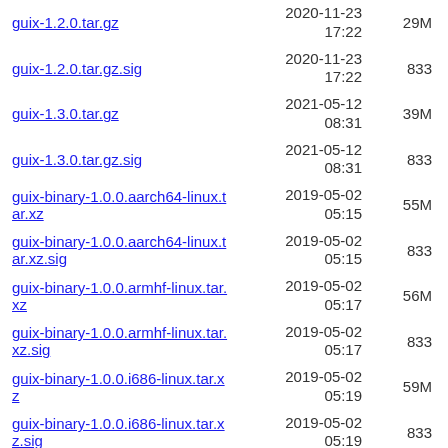guix-1.2.0.tar.gz  2020-11-23 17:22  29M
guix-1.2.0.tar.gz.sig  2020-11-23 17:22  833
guix-1.3.0.tar.gz  2021-05-12 08:31  39M
guix-1.3.0.tar.gz.sig  2021-05-12 08:31  833
guix-binary-1.0.0.aarch64-linux.tar.xz  2019-05-02 05:15  55M
guix-binary-1.0.0.aarch64-linux.tar.xz.sig  2019-05-02 05:15  833
guix-binary-1.0.0.armhf-linux.tar.xz  2019-05-02 05:17  56M
guix-binary-1.0.0.armhf-linux.tar.xz.sig  2019-05-02 05:17  833
guix-binary-1.0.0.i686-linux.tar.xz  2019-05-02 05:19  59M
guix-binary-1.0.0.i686-linux.tar.xz.sig  2019-05-02 05:19  833
guix-binary-1.0.0.x86_64-linux.tar.xz  2019-05-02 05:20  59M
guix-binary-1.0.0.x86_64-...  2019-05-02